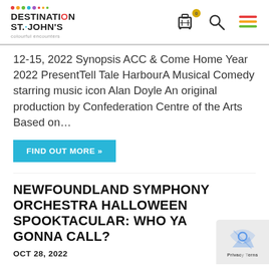Destination St. John's — colourful encounters
12-15, 2022 Synopsis ACC & Come Home Year 2022 PresentTell Tale HarbourA Musical Comedy starring music icon Alan Doyle An original production by Confederation Centre of the Arts Based on…
FIND OUT MORE »
NEWFOUNDLAND SYMPHONY ORCHESTRA HALLOWEEN SPOOKTACULAR: WHO YA GONNA CALL?
OCT 28, 2022